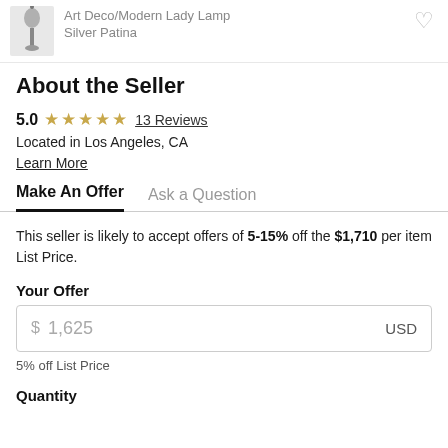[Figure (photo): Small thumbnail image of an Art Deco/Modern Lady Lamp in Silver Patina finish, partially visible at top left]
Art Deco/Modern Lady Lamp
Silver Patina
About the Seller
5.0 ★★★★★ 13 Reviews
Located in Los Angeles, CA
Learn More
Make An Offer   Ask a Question
This seller is likely to accept offers of 5-15% off the $1,710 per item List Price.
Your Offer
$ 1,625   USD
5% off List Price
Quantity